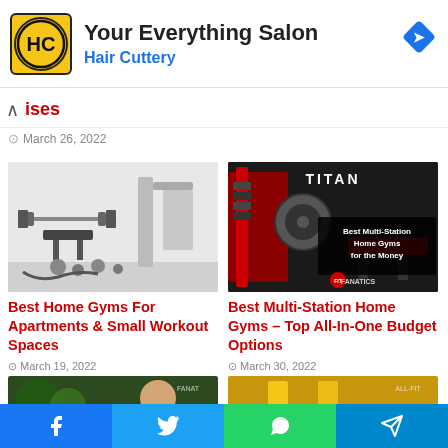[Figure (other): Hair Cuttery advertisement banner with yellow HC logo, text 'Your Everything Salon' and 'Hair Cuttery', and blue navigation diamond icon on the right]
ises
March 26, 2022
[Figure (photo): Home gym equipment including bench press, weights, and cable machines in a bright white room]
Best Home Gyms For Apartments & Small Workout Spaces
March 19, 2022
[Figure (photo): Titan multi-station home gym equipment with red and black colors, text overlay 'Best Multi-Station Home Gyms for the Money']
Best Multi-Station Home Gyms – Top All-In-One Budget Options
March 30, 2022
[Figure (photo): Two partial thumbnail images at the bottom]
Facebook | Twitter | WhatsApp | Telegram share buttons